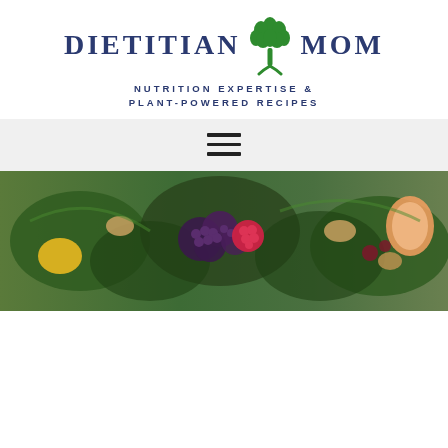[Figure (logo): Dietitian Mom logo with green tree/plant icon and dark navy text reading DIETITIAN MOM, tagline NUTRITION EXPERTISE & PLANT-POWERED RECIPES]
[Figure (other): Hamburger menu icon with three horizontal lines]
[Figure (photo): Hero image of a salad with dark leafy greens, berries including blackberries and a raspberry, nuts, and citrus fruit slices]
Privacy & Cookies: This site uses cookies. By continuing to use this website, you agree to their use.
To find out more, including how to control cookies, see here: Cookie Policy
Close and accept
Perfect Vegan Potato Hash...